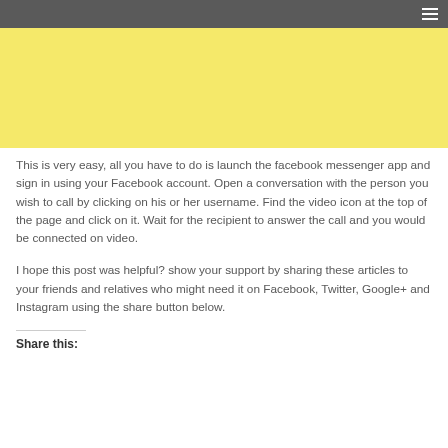[Figure (other): Yellow banner advertisement block at the top of the page]
This is very easy, all you have to do is launch the facebook messenger app and sign in using your Facebook account. Open a conversation with the person you wish to call by clicking on his or her username. Find the video icon at the top of the page and click on it. Wait for the recipient to answer the call and you would be connected on video.
I hope this post was helpful? show your support by sharing these articles to your friends and relatives who might need it on Facebook, Twitter, Google+ and Instagram using the share button below.
Share this: